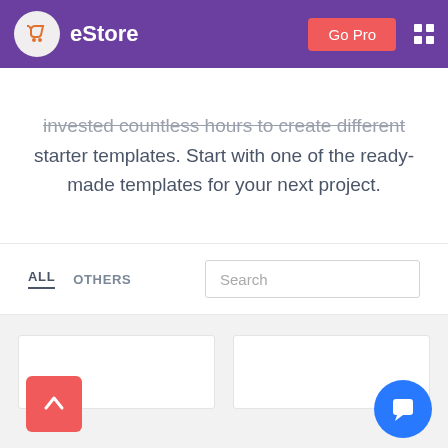eStore — Go Pro
invested countless hours to create different starter templates. Start with one of the ready-made templates for your next project.
ALL   OTHERS
[Figure (screenshot): Search input box with placeholder text 'Search']
[Figure (screenshot): Content card grid area with two white cards and a red scroll-to-top arrow button and a blue chat bubble button]